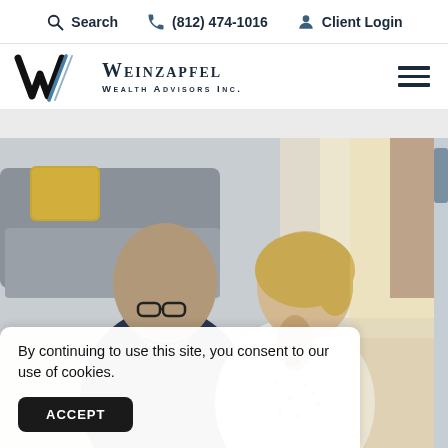Search  (812) 474-1016  Client Login
[Figure (logo): Weinzapfel Wealth Advisors Inc. logo with stylized W lettermark]
[Figure (photo): Middle-aged couple sitting together, smiling and looking at something off-camera. Gray sofa with yellow pillow in background.]
By continuing to use this site, you consent to our use of cookies.